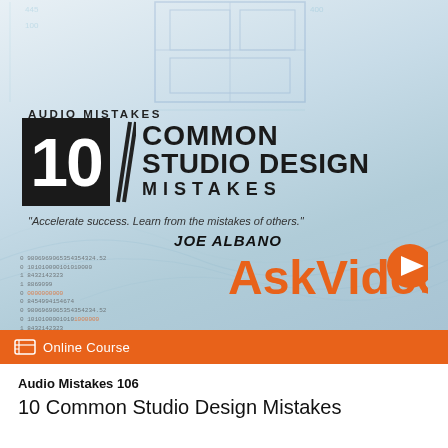[Figure (illustration): Course cover image with blueprint/studio design background, decorative binary code lines, wave graphics, and AskVideo logo. Shows title: AUDIO MISTAKES 10 COMMON STUDIO DESIGN MISTAKES by JOE ALBANO.]
Online Course
Audio Mistakes 106
10 Common Studio Design Mistakes